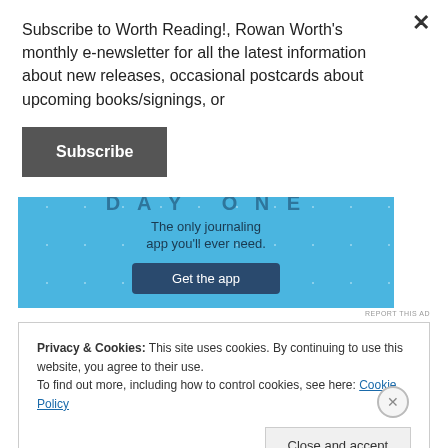Subscribe to Worth Reading!, Rowan Worth's monthly e-newsletter for all the latest information about new releases, occasional postcards about upcoming books/signings, or
Subscribe
[Figure (infographic): Advertisement banner for a journaling app. Light blue background with plus sign decorations. Text reads 'DAY ONE' at top, 'The only journaling app you'll ever need.' and a dark blue button 'Get the app'.]
REPORT THIS AD
Privacy & Cookies: This site uses cookies. By continuing to use this website, you agree to their use.
To find out more, including how to control cookies, see here: Cookie Policy
Close and accept
REPORT THIS AD